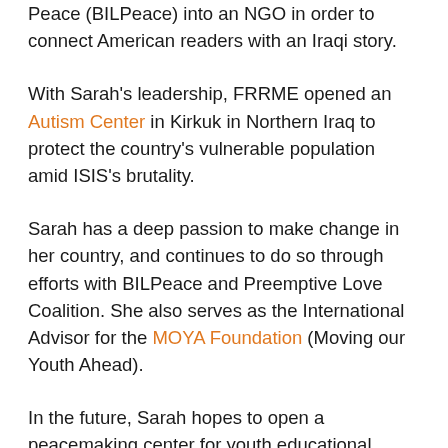Peace (BILPeace) into an NGO in order to connect American readers with an Iraqi story.
With Sarah’s leadership, FRRME opened an Autism Center in Kirkuk in Northern Iraq to protect the country’s vulnerable population amid ISIS’s brutality.
Sarah has a deep passion to make change in her country, and continues to do so through efforts with BILPeace and Preemptive Love Coalition. She also serves as the International Advisor for the MOYA Foundation (Moving our Youth Ahead).
In the future, Sarah hopes to open a peacemaking center for youth educational development in order to provide educational support and interfaith dialogue to young people in her beloved country.